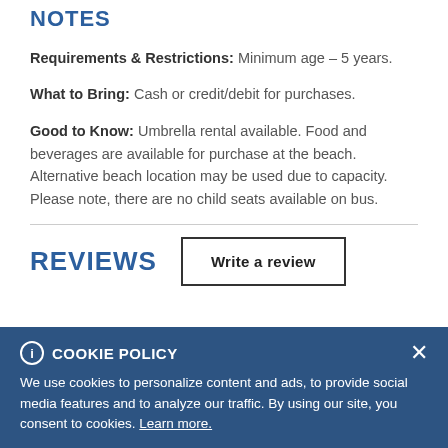NOTES
Requirements & Restrictions: Minimum age – 5 years.
What to Bring: Cash or credit/debit for purchases.
Good to Know: Umbrella rental available. Food and beverages are available for purchase at the beach. Alternative beach location may be used due to capacity. Please note, there are no child seats available on bus.
REVIEWS
Write a review
COOKIE POLICY We use cookies to personalize content and ads, to provide social media features and to analyze our traffic. By using our site, you consent to cookies. Learn more.